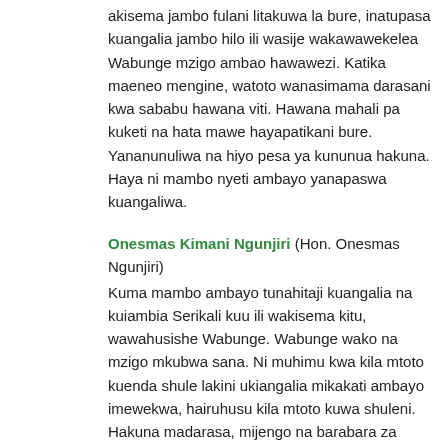akisema jambo fulani litakuwa la bure, inatupasa kuangalia jambo hilo ili wasije wakawawekelea Wabunge mzigo ambao hawawezi. Katika maeneo mengine, watoto wanasimama darasani kwa sababu hawana viti. Hawana mahali pa kuketi na hata mawe hayapatikani bure. Yananunuliwa na hiyo pesa ya kununua hakuna. Haya ni mambo nyeti ambayo yanapaswa kuangaliwa.
Onesmas Kimani Ngunjiri (Hon. Onesmas Ngunjiri)
Kuma mambo ambayo tunahitaji kuangalia na kuiambia Serikali kuu ili wakisema kitu, wawahusishe Wabunge. Wabunge wako na mzigo mkubwa sana. Ni muhimu kwa kila mtoto kuenda shule lakini ukiangalia mikakati ambayo imewekwa, hairuhusu kila mtoto kuwa shuleni. Hakuna madarasa, mijengo na barabara za kuingia shuleni. Kwa hivyo, kuna mambo nyeti mengi. Pia, naunga mkono mazungumzo haya ya NG-CDF kwa sababu inasaidia sana. Nakubaliana na ndugu yangu, Mhe. Sankok. Katika eneo Bunge langu, ninajenga madarasa kama vile alivyosema, nikitumia Kshs800,000. Haya madarasa yako na tiles, key, ceiling na kila kitu. Nitaongeza iwe Kshs1 milioni ili nikipatiana darasa liwe na kila kitu. Hii ni kwa sababu unapata hakuna viti na wazazi hawawezi kuitishwa pesa za viti. Kwa hivyo, inabidi tuongeze pesa kutoka kwa NG-CDF. Wakati huu,